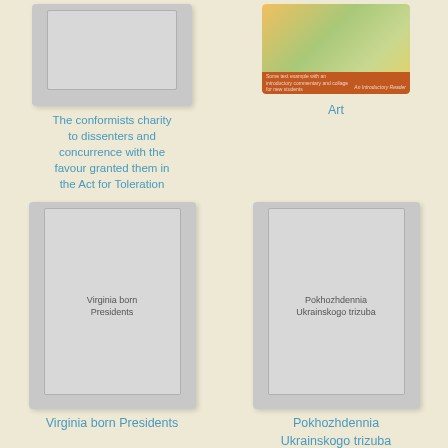[Figure (illustration): Gray placeholder book cover for 'The conformists charity to dissenters...']
The conformists charity to dissenters and concurrence with the favour granted them in the Act for Toleration
[Figure (illustration): Art book cover with colorful abstract background and orange bar at bottom]
Art
[Figure (illustration): Gray placeholder book cover for 'Virginia born Presidents']
Virginia born Presidents
[Figure (illustration): Gray placeholder book cover for 'Pokhozhdennia Ukrainskogo trizuba']
Pokhozhdennia Ukrainskogo trizuba
[Figure (illustration): Gray placeholder book cover for 'The principal']
[Figure (illustration): Consider book cover with large red C letter]